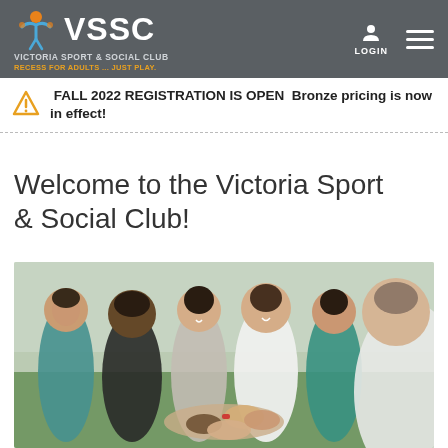VSSC — VICTORIA SPORT & SOCIAL CLUB — RECESS FOR ADULTS ... JUST PLAY.
⚠ 🏅 FALL 2022 REGISTRATION IS OPEN 🏅 Bronze pricing is now in effect!
Welcome to the Victoria Sport & Social Club!
[Figure (photo): Group of diverse young adults in athletic wear standing in a circle, smiling and putting their hands together in the center in a team huddle, outdoors on a green field.]